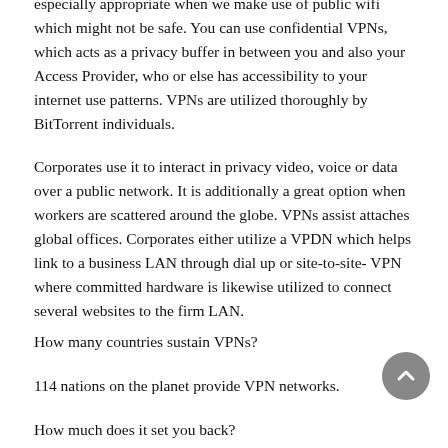especially appropriate when we make use of public wifi which might not be safe. You can use confidential VPNs, which acts as a privacy buffer in between you and also your Access Provider, who or else has accessibility to your internet use patterns. VPNs are utilized thoroughly by BitTorrent individuals.
Corporates use it to interact in privacy video, voice or data over a public network. It is additionally a great option when workers are scattered around the globe. VPNs assist attaches global offices. Corporates either utilize a VPDN which helps link to a business LAN through dial up or site-to-site- VPN where committed hardware is likewise utilized to connect several websites to the firm LAN.
How many countries sustain VPNs?
114 nations on the planet provide VPN networks.
How much does it set you back?